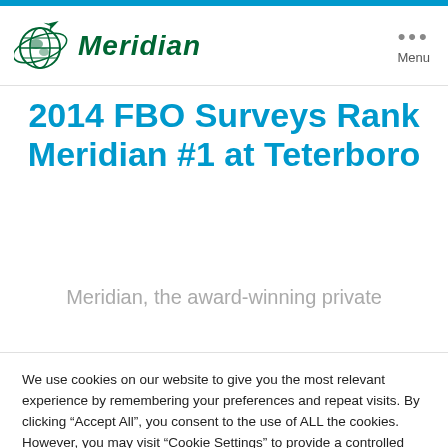[Figure (logo): Meridian logo with globe and airplane icon]
2014 FBO Surveys Rank Meridian #1 at Teterboro
Meridian, the award-winning private
We use cookies on our website to give you the most relevant experience by remembering your preferences and repeat visits. By clicking “Accept All”, you consent to the use of ALL the cookies. However, you may visit "Cookie Settings" to provide a controlled consent.